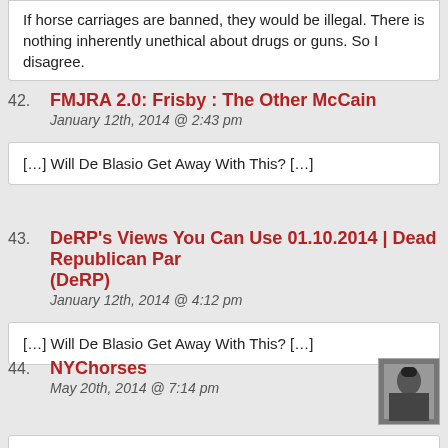If horse carriages are banned, they would be illegal. There is nothing inherently unethical about drugs or guns. So I disagree.
42. FMJRA 2.0: Frisby : The Other McCain
January 12th, 2014 @ 2:43 pm
[…] Will De Blasio Get Away With This? […]
43. DeRP's Views You Can Use 01.10.2014 | Dead Republican Party (DeRP)
January 12th, 2014 @ 4:12 pm
[…] Will De Blasio Get Away With This? […]
44. NYChorses
May 20th, 2014 @ 7:14 pm
@MikeBPR @BrianMora_USA @EvanCStern Yes indeed: http://t.co/WqvPjngi73